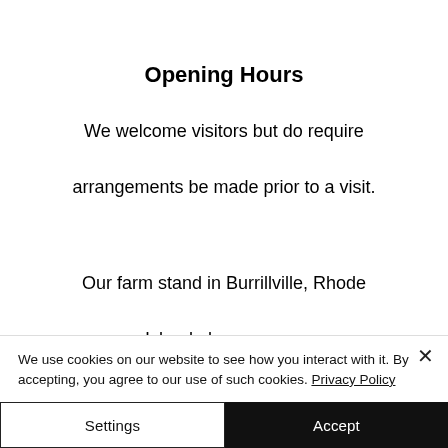Opening Hours
We welcome visitors but do require arrangements be made prior to a visit.
Our farm stand in Burrillville, Rhode Island always open.
We use cookies on our website to see how you interact with it. By accepting, you agree to our use of such cookies. Privacy Policy